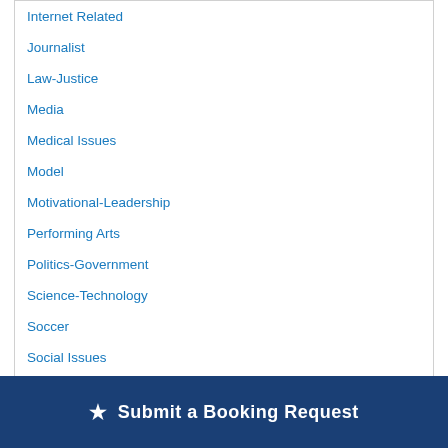Internet Related
Journalist
Law-Justice
Media
Medical Issues
Model
Motivational-Leadership
Performing Arts
Politics-Government
Science-Technology
Soccer
Social Issues
Sport Types
★ Submit a Booking Request